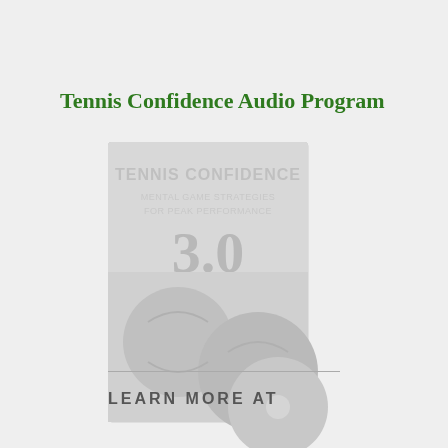Tennis Confidence Audio Program
[Figure (photo): Product image of Tennis Confidence Audio Program — faded/watermarked image showing a CD/book product with text 'TENNIS CONFIDENCE: MENTAL GAME STRATEGIES FOR PEAK PERFORMANCE' and a tennis player/ball graphic, rendered in very light gray tones on a light background.]
LEARN MORE AT